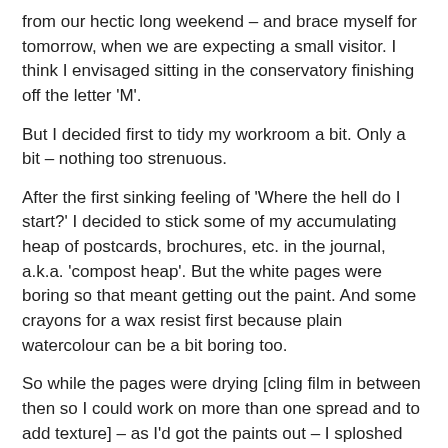from our hectic long weekend – and brace myself for tomorrow, when we are expecting a small visitor. I think I envisaged sitting in the conservatory finishing off the letter 'M'.
But I decided first to tidy my workroom a bit. Only a bit – nothing too strenuous.
After the first sinking feeling of 'Where the hell do I start?' I decided to stick some of my accumulating heap of postcards, brochures, etc. in the journal, a.k.a. 'compost heap'. But the white pages were boring so that meant getting out the paint. And some crayons for a wax resist first because plain watercolour can be a bit boring too.
So while the pages were drying [cling film in between then so I could work on more than one spread and to add texture] – as I'd got the paints out – I sploshed some paint on paper as well.
Then I decided to stick some previous painting efforts in an altered book I've done – I have this belief that if I splosh paint around often enough I might one day miraculously